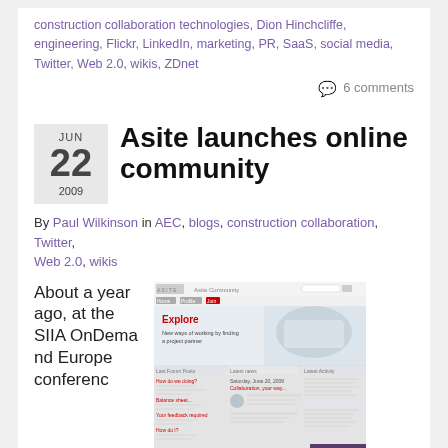construction collaboration technologies, Dion Hinchcliffe, engineering, Flickr, LinkedIn, marketing, PR, SaaS, social media, Twitter, Web 2.0, wikis, ZDnet
6 comments
Asite launches online community
By Paul Wilkinson in AEC, blogs, construction collaboration, Twitter, Web 2.0, wikis
[Figure (screenshot): Screenshot of the Asite Community website showing an 'Explore' section with a handshake image and community discussion threads]
About a year ago, at the SIIA OnDemand Europe conferenc